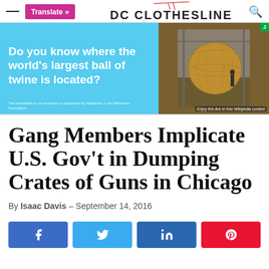DC CLOTHESLINE
[Figure (photo): Advertisement banner for Wikipedia newsletter showing a large ball of twine. Text reads: 'Do you know where the world's largest ball of twine is located?' with photo of the ball of twine and caption 'Enjoy this link to free Wikipedia content']
Gang Members Implicate U.S. Gov't in Dumping Crates of Guns in Chicago
By Isaac Davis – September 14, 2016
[Figure (infographic): Social media share buttons row: Facebook, Twitter, LinkedIn, Pinterest]